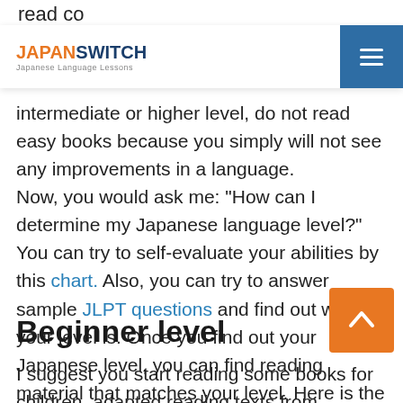read co… newspa… book that ma…
JAPANSWITCH Japanese Language Lessons
intermediate or higher level, do not read easy books because you simply will not see any improvements in a language. Now, you would ask me: "How can I determine my Japanese language level?" You can try to self-evaluate your abilities by this chart. Also, you can try to answer sample JLPT questions and find out what your level is. Once you find out your Japanese level, you can find reading material that matches your level. Here is the list of some readings you might like:
Beginner level
I suggest you start reading some books for children, adapted reading texts from textbooks (e.g. Genki or